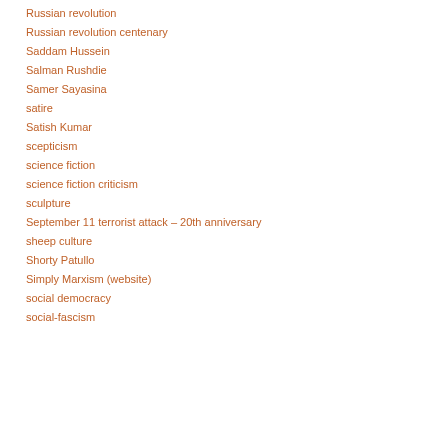Russian revolution
Russian revolution centenary
Saddam Hussein
Salman Rushdie
Samer Sayasina
satire
Satish Kumar
scepticism
science fiction
science fiction criticism
sculpture
September 11 terrorist attack – 20th anniversary
sheep culture
Shorty Patullo
Simply Marxism (website)
social democracy
social-fascism